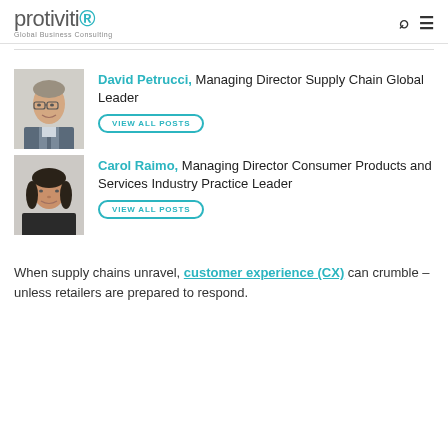protiviti® Global Business Consulting
[Figure (photo): Headshot photo of David Petrucci, a middle-aged man with glasses]
David Petrucci, Managing Director Supply Chain Global Leader VIEW ALL POSTS
[Figure (photo): Headshot photo of Carol Raimo, a woman with dark hair]
Carol Raimo, Managing Director Consumer Products and Services Industry Practice Leader VIEW ALL POSTS
When supply chains unravel, customer experience (CX) can crumble – unless retailers are prepared to respond.